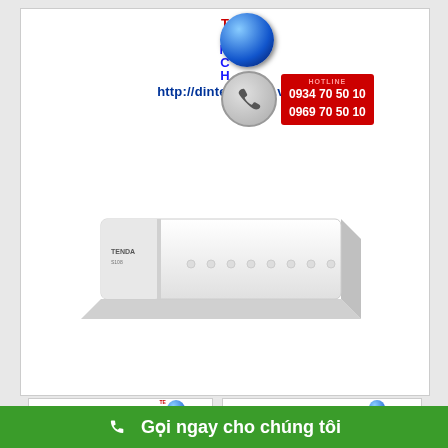[Figure (photo): Network switch device (white) with Tenda branding, shown on white background with dintech.com.vn watermark, hotline numbers 0934 70 50 10 and 0969 70 50 10 overlaid]
[Figure (photo): Thumbnail left: dintech logo and hotline overlay on white background]
[Figure (photo): Thumbnail right: Network switch device front view with dintech logo overlay]
Gọi ngay cho chúng tôi